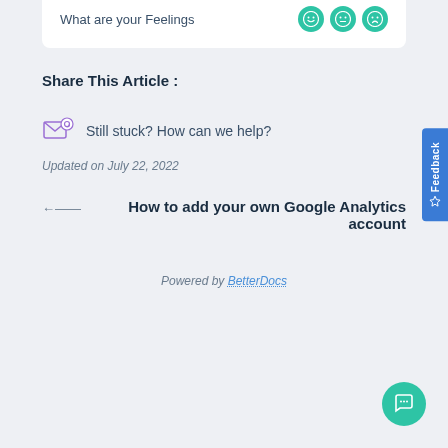What are your Feelings
Share This Article :
Still stuck? How can we help?
Updated on July 22, 2022
How to add your own Google Analytics account
Powered by BetterDocs